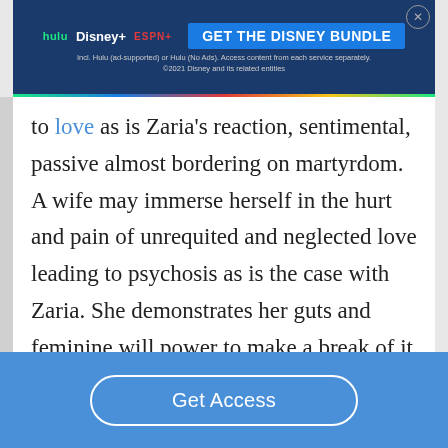[Figure (screenshot): Disney Bundle advertisement banner with Hulu, Disney+, and ESPN+ logos and 'GET THE DISNEY BUNDLE' call to action button]
to love as is Zaria's reaction, sentimental, passive almost bordering on martyrdom. A wife may immerse herself in the hurt and pain of unrequited and neglected love leading to psychosis as is the case with Zaria. She demonstrates her guts and feminine will power to make a break of it and claim back her name and identity. Even after her
Get Access